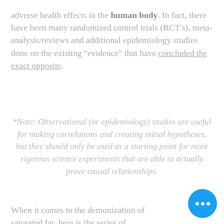adverse health effects in the human body. In fact, there have been many randomized control trials (RCT's), meta-analysis/reviews and additional epidemiology studies done on the existing "evidence" that have concluded the exact opposite.
*Note: Observational (or epidemiology) studies are useful for making correlations and creating initial hypotheses, but they should only be used as a starting point for more rigorous science experiments that are able to actually prove causal relationships.
When it comes to the demonization of saturated fat, here is the series of